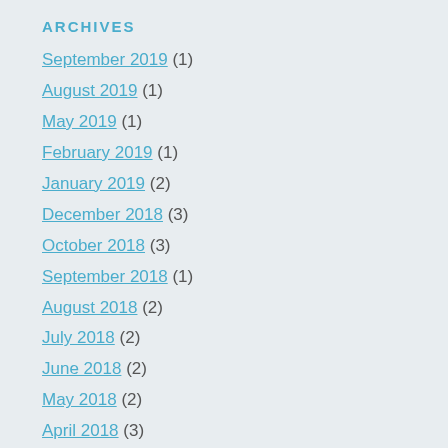ARCHIVES
September 2019 (1)
August 2019 (1)
May 2019 (1)
February 2019 (1)
January 2019 (2)
December 2018 (3)
October 2018 (3)
September 2018 (1)
August 2018 (2)
July 2018 (2)
June 2018 (2)
May 2018 (2)
April 2018 (3)